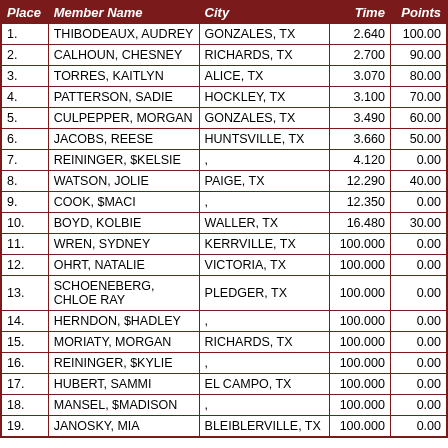| Place | Member Name | City | Time | Points |
| --- | --- | --- | --- | --- |
| 1. | THIBODEAUX, AUDREY | GONZALES, TX | 2.640 | 100.00 |
| 2. | CALHOUN, CHESNEY | RICHARDS, TX | 2.700 | 90.00 |
| 3. | TORRES, KAITLYN | ALICE, TX | 3.070 | 80.00 |
| 4. | PATTERSON, SADIE | HOCKLEY, TX | 3.100 | 70.00 |
| 5. | CULPEPPER, MORGAN | GONZALES, TX | 3.490 | 60.00 |
| 6. | JACOBS, REESE | HUNTSVILLE, TX | 3.660 | 50.00 |
| 7. | REININGER, $KELSIE | , | 4.120 | 0.00 |
| 8. | WATSON, JOLIE | PAIGE, TX | 12.290 | 40.00 |
| 9. | COOK, $MACI | , | 12.350 | 0.00 |
| 10. | BOYD, KOLBIE | WALLER, TX | 16.480 | 30.00 |
| 11. | WREN, SYDNEY | KERRVILLE, TX | 100.000 | 0.00 |
| 12. | OHRT, NATALIE | VICTORIA, TX | 100.000 | 0.00 |
| 13. | SCHOENEBERG, CHLOE RAY | PLEDGER, TX | 100.000 | 0.00 |
| 14. | HERNDON, $HADLEY | , | 100.000 | 0.00 |
| 15. | MORIATY, MORGAN | RICHARDS, TX | 100.000 | 0.00 |
| 16. | REININGER, $KYLIE | , | 100.000 | 0.00 |
| 17. | HUBERT, SAMMI | EL CAMPO, TX | 100.000 | 0.00 |
| 18. | MANSEL, $MADISON | , | 100.000 | 0.00 |
| 19. | JANOSKY, MIA | BLEIBLERVILLE, TX | 100.000 | 0.00 |